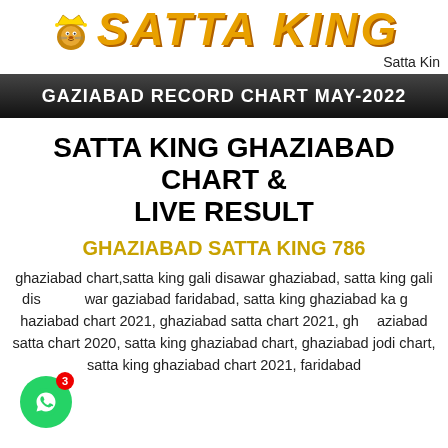[Figure (logo): Satta King logo with lion icon and stylized orange text]
Satta Kin
GAZIABAD RECORD CHART MAY-2022
SATTA KING GHAZIABAD CHART & LIVE RESULT
GHAZIABAD SATTA KING 786
ghaziabad chart,satta king gali disawar ghaziabad, satta king gali disawar gaziabad faridabad, satta king ghaziabad ka ghaziabad chart 2021, ghaziabad satta chart 2021, ghaziabad satta chart 2020, satta king ghaziabad chart, ghaziabad jodi chart, satta king ghaziabad chart 2021, faridabad